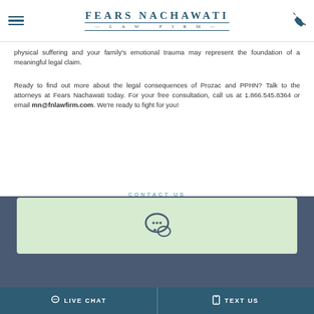[Figure (logo): Fears Nachawati Law Firm logo with hamburger menu and phone icon]
physical suffering and your family's emotional trauma may represent the foundation of a meaningful legal claim.
Ready to find out more about the legal consequences of Prozac and PPHN? Talk to the attorneys at Fears Nachawati today. For your free consultation, call us at 1.866.545.8364 or email mn@fnlawfirm.com. We're ready to fight for you!
[Figure (infographic): Footer dark blue section with CONTACT US label and green contact box containing chat bubble icon]
LIVE CHAT   TEXT US